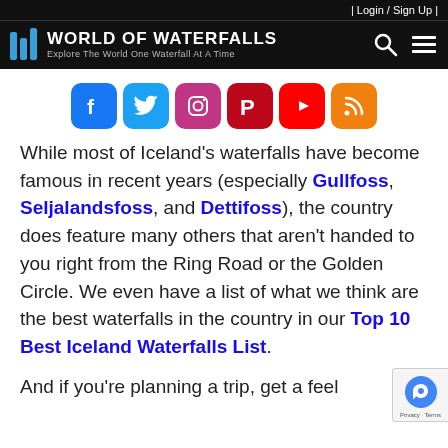| Login / Sign Up |
[Figure (logo): World of Waterfalls logo with blue waterfall bars icon, white text 'WORLD OF WATERFALLS' and tagline 'Explore The World One Waterfall At A Time' on black background, with search and menu icons]
[Figure (infographic): Row of social media icon buttons: Facebook (blue), Twitter (light blue), Instagram (pink/purple gradient), Pinterest (dark red), YouTube (red), RSS (orange)]
While most of Iceland's waterfalls have become famous in recent years (especially Gullfoss, Seljalandsfoss, and Dettifoss), the country does feature many others that aren't handed to you right from the Ring Road or the Golden Circle. We even have a list of what we think are the best waterfalls in the country in our Top 10 Best Iceland Waterfalls List.
And if you're planning a trip, get a feel